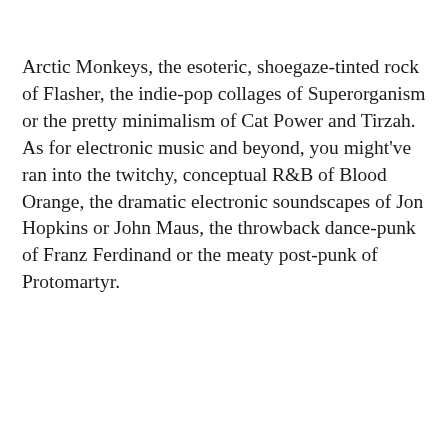Arctic Monkeys, the esoteric, shoegaze-tinted rock of Flasher, the indie-pop collages of Superorganism or the pretty minimalism of Cat Power and Tirzah. As for electronic music and beyond, you might've ran into the twitchy, conceptual R&B of Blood Orange, the dramatic electronic soundscapes of Jon Hopkins or John Maus, the throwback dance-punk of Franz Ferdinand or the meaty post-punk of Protomartyr.